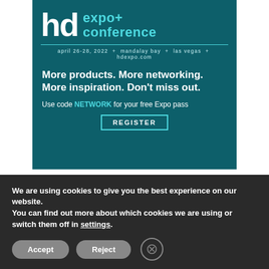[Figure (advertisement): HD Expo+ Conference advertisement banner. Teal/dark green background with chairs. Logo shows 'hd expo+ conference' in white and cyan. Event info: april 26-28, 2022 + mandalay bay + las vegas + hdexpo.com. Tagline: More products. More networking. More inspiration. Don't miss out. Use code NETWORK for your free Expo pass. REGISTER button with cyan border.]
[Figure (other): Purple/magenta solid color banner, partially visible.]
We are using cookies to give you the best experience on our website.
You can find out more about which cookies we are using or switch them off in settings.